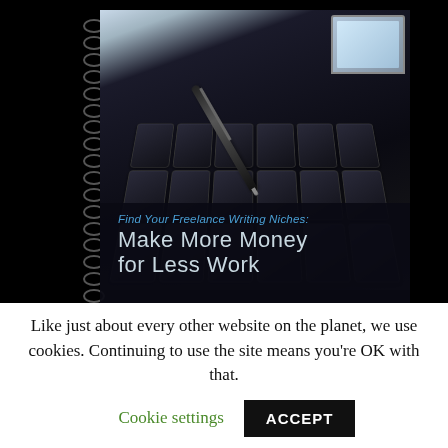[Figure (photo): A spiral-bound notebook/book cover showing a close-up photo of a laptop keyboard with a pen resting on the keys and a monitor visible in the upper right. Text overlay reads 'Find Your Freelance Writing Niches: Make More Money for Less Work']
Like just about every other website on the planet, we use cookies. Continuing to use the site means you're OK with that.
Cookie settings
ACCEPT